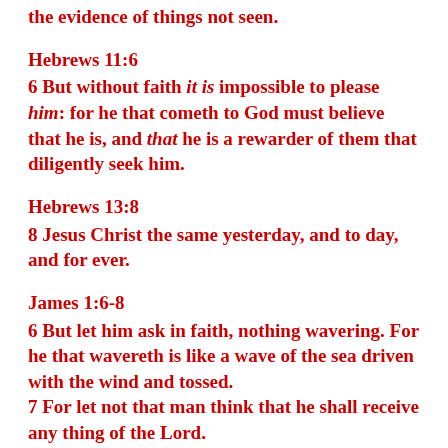the evidence of things not seen.
Hebrews 11:6
6 But without faith it is impossible to please him: for he that cometh to God must believe that he is, and that he is a rewarder of them that diligently seek him.
Hebrews 13:8
8 Jesus Christ the same yesterday, and to day, and for ever.
James 1:6-8
6 But let him ask in faith, nothing wavering. For he that wavereth is like a wave of the sea driven with the wind and tossed.
7 For let not that man think that he shall receive any thing of the Lord.
8 A double minded man is unstable in all his